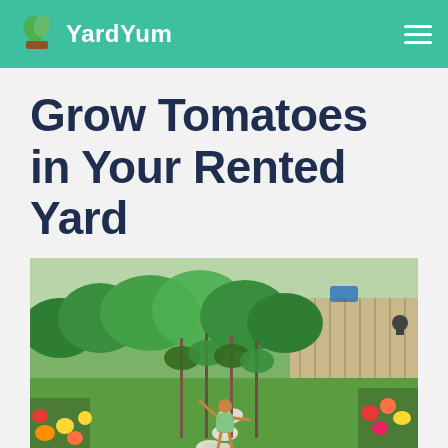YardYum
Grow Tomatoes in Your Rented Yard
[Figure (photo): Aerial view of a lush backyard garden with a woman standing on stepping stones among tall green plants, colorful flower beds, and manicured lawn surrounded by a wooden fence.]